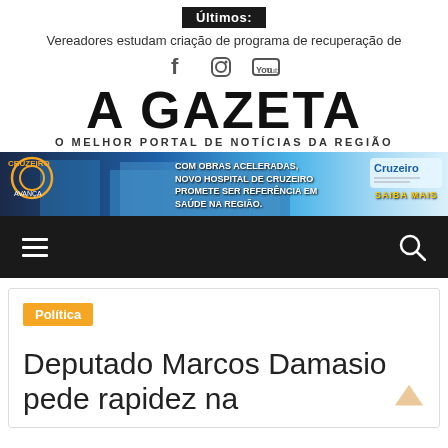Últimos:
Vereadores estudam criação de programa de recuperação de
[Figure (screenshot): Social media icons: Facebook, Instagram, YouTube]
A GAZETA
O MELHOR PORTAL DE NOTÍCIAS DA REGIÃO
[Figure (infographic): Advertisement banner: Com obras aceleradas, novo hospital de Cruzeiro promete ser referência em saúde na região. Saiba Mais. Logo Cruzeiro.]
[Figure (screenshot): Navigation bar with hamburger menu icon on left and search icon on right, dark background]
Política
Deputado Marcos Damasio pede rapidez na